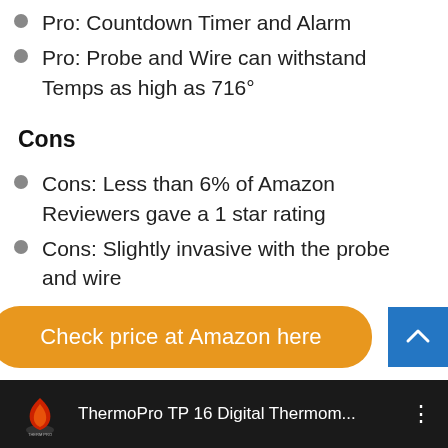Pro: Countdown Timer and Alarm
Pro: Probe and Wire can withstand Temps as high as 716°
Cons
Cons: Less than 6% of Amazon Reviewers gave a 1 star rating
Cons: Slightly invasive with the probe and wire
[Figure (other): Orange rounded button reading 'Check price at Amazon here' with a blue square scroll-to-top button with a caret/chevron icon]
[Figure (screenshot): Black footer bar with ThermoPro flame logo and text 'ThermoPro TP 16 Digital Thermom...' with a vertical dots menu icon]